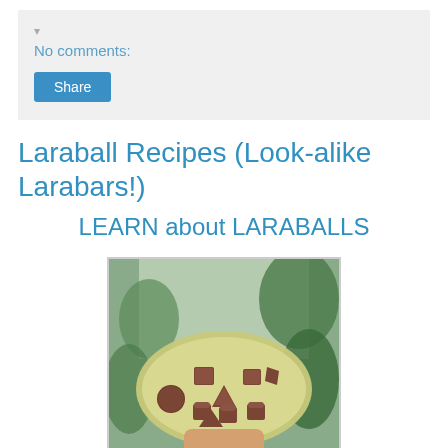No comments:
Share
Laraball Recipes (Look-alike Larabars!)
LEARN about LARABALLS
[Figure (photo): A plate of laraball snacks in various shapes (balls, squares, triangles, cupcake shapes) arranged on an oval ceramic plate, held by a hand, with plants visible in the background.]